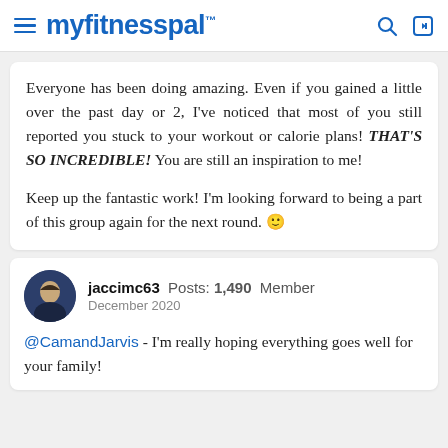myfitnesspal
Everyone has been doing amazing. Even if you gained a little over the past day or 2, I've noticed that most of you still reported you stuck to your workout or calorie plans! THAT'S SO INCREDIBLE! You are still an inspiration to me!

Keep up the fantastic work! I'm looking forward to being a part of this group again for the next round. 🙂
jaccimc63 Posts: 1,490 Member
December 2020
@CamandJarvis - I'm really hoping everything goes well for your family!